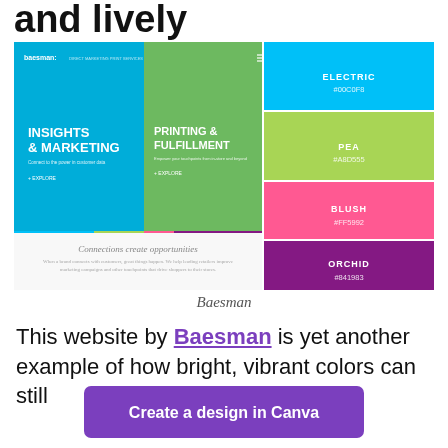and lively
[Figure (screenshot): Baesman website screenshot showing two colored panels (cyan: INSIGHTS & MARKETING, green: PRINTING & FULFILLMENT) with a color palette on the right side showing ELECTRIC #00C0F8, PEA #A8D555, BLUSH #FF5992, ORCHID #841983, and a tagline section at the bottom reading 'Connections create opportunities'.]
Baesman
This website by Baesman is yet another example of how bright, vibrant colors can still